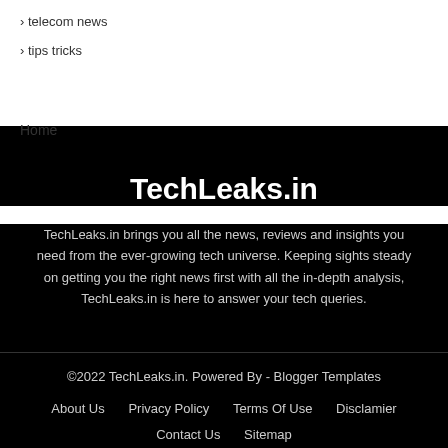› telecom news
› tips tricks
Home
TechLeaks.in
TechLeaks.in brings you all the news, reviews and insights you need from the ever-growing tech universe. Keeping sights steady on getting you the right news first with all the in-depth analysis, TechLeaks.in is here to answer your tech queries.
©2022 TechLeaks.in. Powered By - Blogger Templates
About Us   Privacy Policy   Terms Of Use   Disclamier   Contact Us   Sitemap